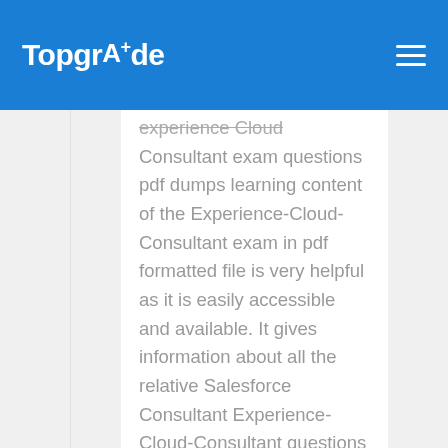TopgrAde
experience Cloud Consultant exam questions pdf dumps learning content of the Experience-Cloud-Consultant exam in pdf formatted file is very helpful as it is easily accessible and available. It gives information about all the relative Salesforce Consultant Experience-Cloud-Consultant questions and